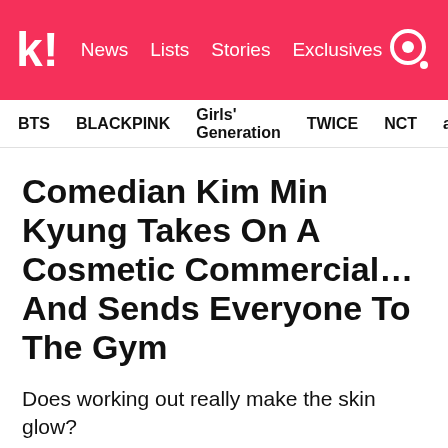k! News Lists Stories Exclusives
BTS BLACKPINK Girls' Generation TWICE NCT aespa
Comedian Kim Min Kyung Takes On A Cosmetic Commercial… And Sends Everyone To The Gym
Does working out really make the skin glow?
[Figure (photo): Close-up photo of a young Asian woman with blunt bangs, eyes partially closed, neutral/soft expression, blurred background in light grey and green tones]